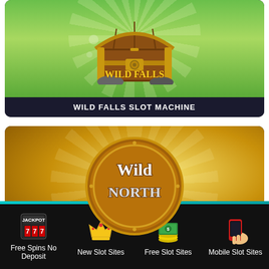[Figure (illustration): Wild Falls slot machine game card with treasure chest graphic and 'Wild Falls' logo on green background]
WILD FALLS SLOT MACHINE
[Figure (illustration): Wild North slot machine game card with large coin logo on golden/brown radial gradient background]
Free Spins No Deposit
New Slot Sites
Free Slot Sites
Mobile Slot Sites